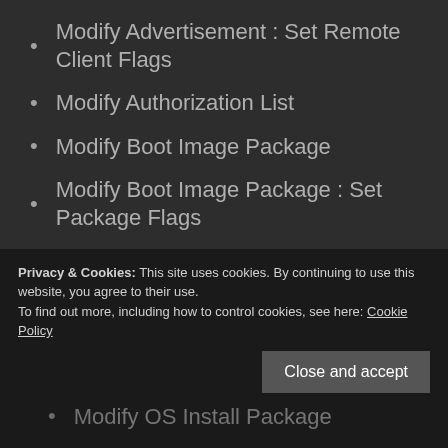Modify Advertisement : Set Remote Client Flags
Modify Authorization List
Modify Boot Image Package
Modify Boot Image Package : Set Package Flags
Modify Collection
Modify Collection Add Direct Member
Modify Collection Add Membership Rule
Modify Driver
Modify Driver Package
Modify OS Install Package
Privacy & Cookies: This site uses cookies. By continuing to use this website, you agree to their use.
To find out more, including how to control cookies, see here: Cookie Policy
Close and accept